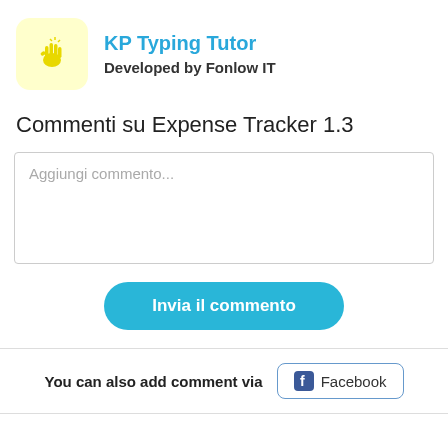[Figure (logo): App icon with yellow background and yellow hand/star icon]
KP Typing Tutor
Developed by Fonlow IT
Commenti su Expense Tracker 1.3
Aggiungi commento...
Invia il commento
You can also add comment via
[Figure (logo): Facebook button with Facebook logo icon and text 'Facebook']